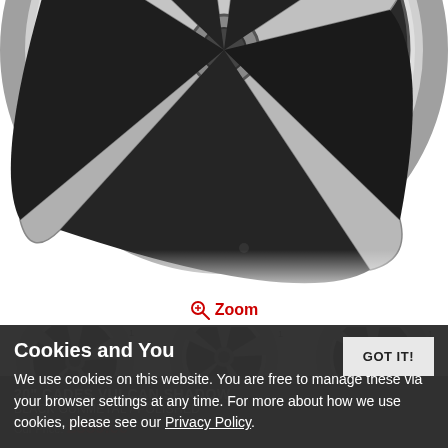[Figure (photo): Large close-up of a 5-spoke alloy wheel in silver/gunmetal finish, top half visible on white background]
Zoom
[Figure (photo): Thumbnail 1: Silver 5-spoke alloy wheel, angled side view]
[Figure (photo): Thumbnail 2: Silver 5-spoke alloy wheel, front view with logo/watermark]
[Figure (photo): Thumbnail 3: Silver 5-spoke alloy wheel, angled view]
[Figure (photo): Thumbnail 4: Close-up of wheel center/spokes dark]
[Figure (photo): Thumbnail 5: Close-up of wheel arch/spokes]
[Figure (photo): Thumbnail 6: Close-up dark photo of tyre and wheel]
20" CADES VULCAN SHADOW
BLACK GUNMETAL / POLISHED
Our Price: £389.00
Cookies and You
We use cookies on this website. You are free to manage these via your browser settings at any time. For more about how we use cookies, please see our Privacy Policy.
GOT IT!